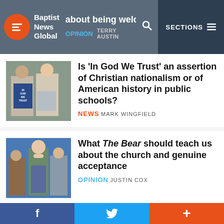Baptist News Global — OPINION TERRY AUSTIN — SECTIONS
[Figure (photo): Two people holding 'In God We Trust' signs]
Is 'In God We Trust' an assertion of Christian nationalism or of American history in public schools?
NEWS MARK WINGFIELD
[Figure (photo): Scene from The Bear TV show with stressed kitchen workers]
What The Bear should teach us about the church and genuine acceptance
OPINION JUSTIN COX
[Figure (photo): US dollar bills and coins]
Despite financial hardships, Americans upped their giving to congregations during pandemic
f  Twitter  +